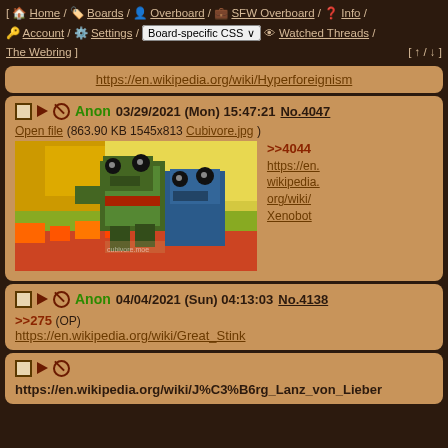[ Home / Boards / Overboard / SFW Overboard / Info / Account / Settings / Board-specific CSS / Watched Threads / The Webring ] [ ↑ / ↓ ]
https://en.wikipedia.org/wiki/Hyperforeignism
Anon 03/29/2021 (Mon) 15:47:21 No.4047
Open file (863.90 KB 1545x813 Cubivore.jpg)
[Figure (photo): 3D rendered blocky animal characters (Cubivore-style), green and multicolored, against a bright outdoor background]
>>4044 https://en.wikipedia.org/wiki/Xenobot
Anon 04/04/2021 (Sun) 04:13:03 No.4138
>>275 (OP) https://en.wikipedia.org/wiki/Great_Stink
https://en.wikipedia.org/wiki/J%C3%B6rg_Lanz_von_Lieber